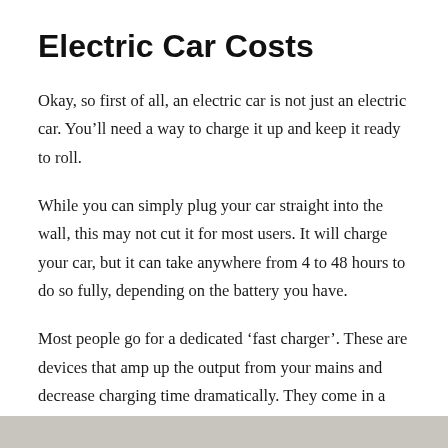Electric Car Costs
Okay, so first of all, an electric car is not just an electric car. You'll need a way to charge it up and keep it ready to roll.
While you can simply plug your car straight into the wall, this may not cut it for most users. It will charge your car, but it can take anywhere from 4 to 48 hours to do so fully, depending on the battery you have.
Most people go for a dedicated ‘fast charger’. These are devices that amp up the output from your mains and decrease charging time dramatically. They come in a range of power options, from 7.2 kilowatts to 22 kilowatts. And the more powerful the charger, the...